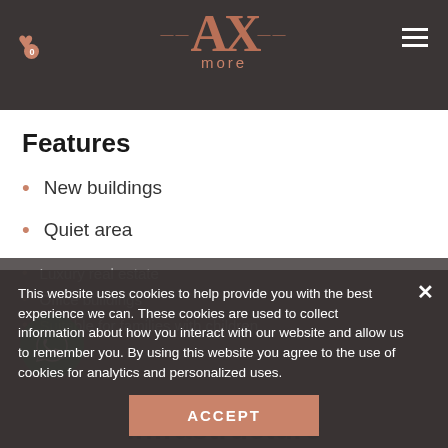AX more — navigation header with logo, heart icon (0), and hamburger menu
Features
New buildings
Quiet area
Luxury real estate
Office buildings
Suitable for families with children
This website uses cookies to help provide you with the best experience we can. These cookies are used to collect information about how you interact with our website and allow us to remember you. By using this website you agree to the use of cookies for analytics and personalized uses.
ACCEPT
Infrastructure